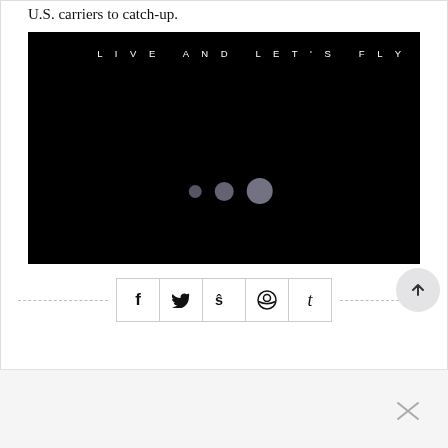U.S. carriers to catch-up.
[Figure (screenshot): Black rectangle with white spaced-out text 'LIVE AND LET'S FLY' in the upper right, and three grey loading dots in the center-lower area]
[Figure (infographic): Social media share buttons row: Facebook (f), Twitter bird, StumbleUpon (su), Reddit (alien), Tumblr (t), with dashed lines on either side]
[Figure (other): Grey circular scroll-to-top button with upward arrow]